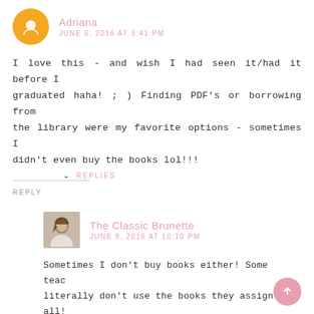Adriana
JUNE 6, 2016 AT 3:41 PM
I love this - and wish I had seen it/had it before I graduated haha! ; ) Finding PDF's or borrowing from the library were my favorite options - sometimes I didn't even buy the books lol!!!
REPLY
REPLIES
The Classic Brunette
JUNE 9, 2016 AT 10:10 PM
Sometimes I don't buy books either! Some teachers literally don't use the books they assign at all!